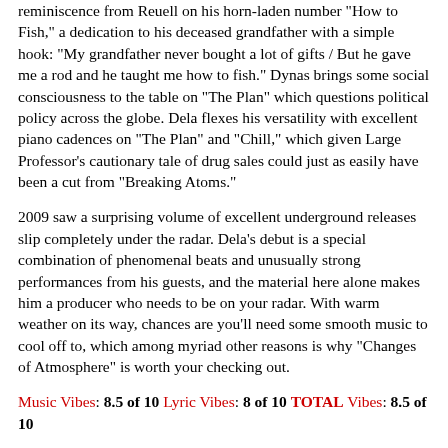reminiscence from Reuell on his horn-laden number "How to Fish," a dedication to his deceased grandfather with a simple hook: "My grandfather never bought a lot of gifts / But he gave me a rod and he taught me how to fish." Dynas brings some social consciousness to the table on "The Plan" which questions political policy across the globe. Dela flexes his versatility with excellent piano cadences on "The Plan" and "Chill," which given Large Professor's cautionary tale of drug sales could just as easily have been a cut from "Breaking Atoms."
2009 saw a surprising volume of excellent underground releases slip completely under the radar. Dela's debut is a special combination of phenomenal beats and unusually strong performances from his guests, and the material here alone makes him a producer who needs to be on your radar. With warm weather on its way, chances are you'll need some smooth music to cool off to, which among myriad other reasons is why "Changes of Atmosphere" is worth your checking out.
Music Vibes: 8.5 of 10 Lyric Vibes: 8 of 10 TOTAL Vibes: 8.5 of 10
Originally posted: May 11, 2010
source: www.RapReviews.com